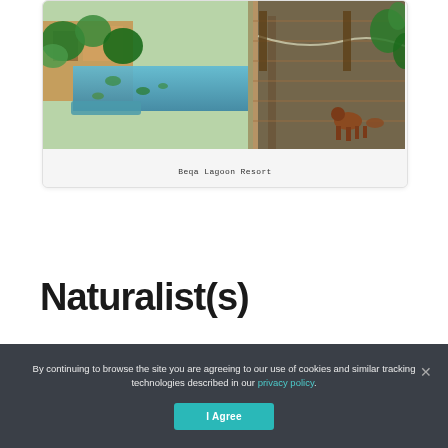[Figure (photo): Beqa Lagoon Resort - tropical resort with wooden docks, lush green plants, lily pads on water, and a brown dog standing on a wooden boardwalk]
Beqa Lagoon Resort
Naturalist(s)
By continuing to browse the site you are agreeing to our use of cookies and similar tracking technologies described in our privacy policy.